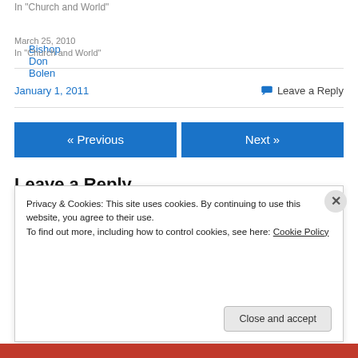In "Church and World"
Bishop Don Bolen
March 25, 2010
In "Church and World"
January 1, 2011
💬 Leave a Reply
« Previous
Next »
Leave a Reply
Privacy & Cookies: This site uses cookies. By continuing to use this website, you agree to their use.
To find out more, including how to control cookies, see here: Cookie Policy
Close and accept